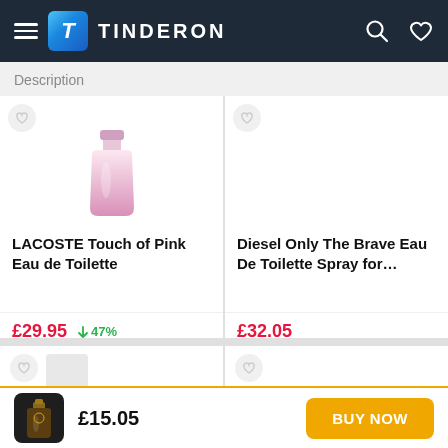[Figure (screenshot): Tinderon e-commerce app navigation bar with hamburger menu, logo, brand name, search and heart icons]
Description
LACOSTE Touch of Pink Eau de Toilette
£29.95  ↓ 47%
Diesel Only The Brave Eau De Toilette Spray for...
£32.05
£15.05
BUY NOW